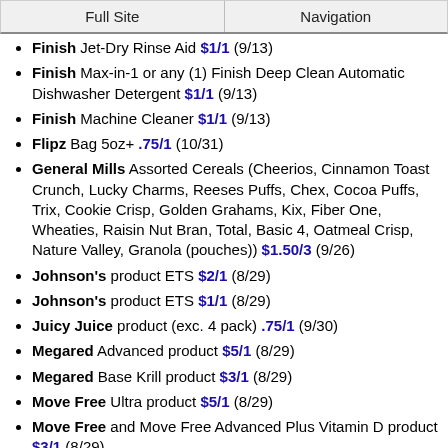Full Site | Navigation
Finish Jet-Dry Rinse Aid $1/1 (9/13)
Finish Max-in-1 or any (1) Finish Deep Clean Automatic Dishwasher Detergent $1/1 (9/13)
Finish Machine Cleaner $1/1 (9/13)
Flipz Bag 5oz+ .75/1 (10/31)
General Mills Assorted Cereals (Cheerios, Cinnamon Toast Crunch, Lucky Charms, Reeses Puffs, Chex, Cocoa Puffs, Trix, Cookie Crisp, Golden Grahams, Kix, Fiber One, Wheaties, Raisin Nut Bran, Total, Basic 4, Oatmeal Crisp, Nature Valley, Granola (pouches)) $1.50/3 (9/26)
Johnson's product ETS $2/1 (8/29)
Johnson's product ETS $1/1 (8/29)
Juicy Juice product (exc. 4 pack) .75/1 (9/30)
Megared Advanced product $5/1 (8/29)
Megared Base Krill product $3/1 (8/29)
Move Free Ultra product $5/1 (8/29)
Move Free and Move Free Advanced Plus Vitamin D product $3/1 (8/29)
Musselman's 6-pk 4oz Cups, Squeezables or 4-pk BIG Cup Apple Sauce .75/2 (9/29)